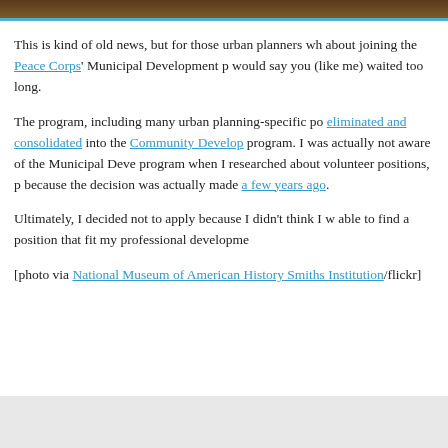[Figure (photo): Top dark brown image bar cropped photo]
This is kind of old news, but for those urban planners who about joining the Peace Corps' Municipal Development p would say you (like me) waited too long.
The program, including many urban planning-specific po eliminated and consolidated into the Community Develop program. I was actually not aware of the Municipal Deve program when I researched about volunteer positions, p because the decision was actually made a few years ago.
Ultimately, I decided not to apply because I didn't think I w able to find a position that fit my professional developme
[photo via National Museum of American History Smiths Institution/flickr]